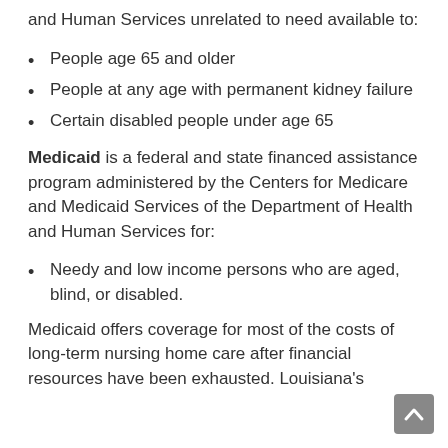and Human Services unrelated to need available to:
People age 65 and older
People at any age with permanent kidney failure
Certain disabled people under age 65
Medicaid is a federal and state financed assistance program administered by the Centers for Medicare and Medicaid Services of the Department of Health and Human Services for:
Needy and low income persons who are aged, blind, or disabled.
Medicaid offers coverage for most of the costs of long-term nursing home care after financial resources have been exhausted. Louisiana's